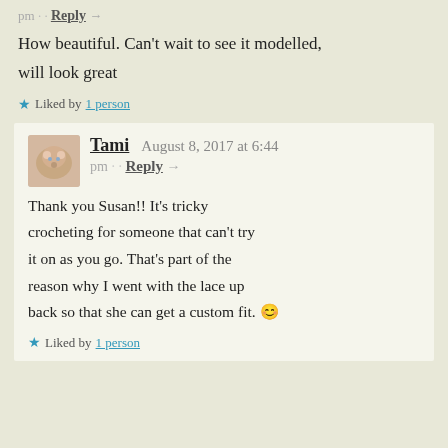pm .. Reply →
How beautiful. Can't wait to see it modelled, will look great
★ Liked by 1 person
Tami  August 8, 2017 at 6:44 pm .. Reply →
Thank you Susan!! It's tricky crocheting for someone that can't try it on as you go. That's part of the reason why I went with the lace up back so that she can get a custom fit. 😊
★ Liked by 1 person